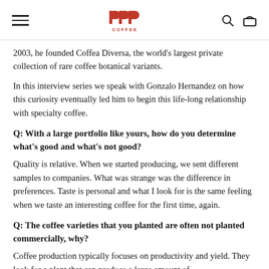PPP COFFEE
2003, he founded Coffea Diversa, the world's largest private collection of rare coffee botanical variants.
In this interview series we speak with Gonzalo Hernandez on how this curiosity eventually led him to begin this life-long relationship with specialty coffee.
Q: With a large portfolio like yours, how do you determine what's good and what's not good?
Quality is relative. When we started producing, we sent different samples to companies. What was strange was the difference in preferences. Taste is personal and what I look for is the same feeling when we taste an interesting coffee for the first time, again.
Q: The coffee varieties that you planted are often not planted commercially, why?
Coffee production typically focuses on productivity and yield. They look for a plant that can produce a large amount of